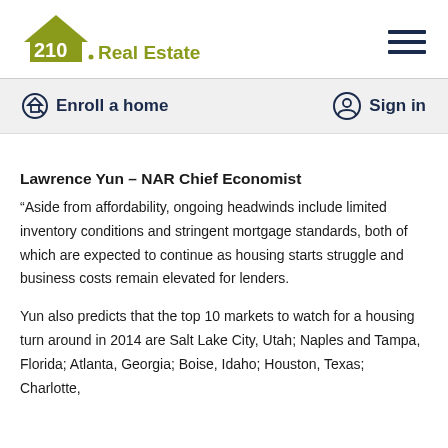210 Real Estate
Enroll a home   Sign in
Lawrence Yun  – NAR Chief Economist
“Aside from affordability, ongoing headwinds include limited inventory conditions and stringent mortgage standards, both of which are expected to continue as housing starts struggle and business costs remain elevated for lenders.
Yun also predicts that the top 10 markets to watch for a housing turn around in 2014 are Salt Lake City, Utah; Naples and Tampa, Florida; Atlanta, Georgia; Boise, Idaho; Houston, Texas; Charlotte,